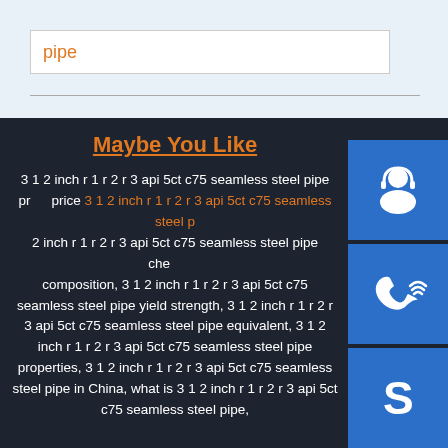pipe
[Figure (illustration): Headset/customer support icon on blue background]
[Figure (illustration): Phone/call icon on blue background]
[Figure (illustration): Skype icon on blue background]
Maybe You Like
3 1 2 inch r 1 r 2 r 3 api 5ct c75 seamless steel pipe price 3 1 2 inch r 1 r 2 r 3 api 5ct c75 seamless steel pipe 2 inch r 1 r 2 r 3 api 5ct c75 seamless steel pipe chemical composition, 3 1 2 inch r 1 r 2 r 3 api 5ct c75 seamless steel pipe yield strength, 3 1 2 inch r 1 r 2 r 3 api 5ct c75 seamless steel pipe equivalent, 3 1 2 inch r 1 r 2 r 3 api 5ct c75 seamless steel pipe properties, 3 1 2 inch r 1 r 2 r 3 api 5ct c75 seamless steel pipe in China, what is 3 1 2 inch r 1 r 2 r 3 api 5ct 5ct c75 seamless steel pipe,